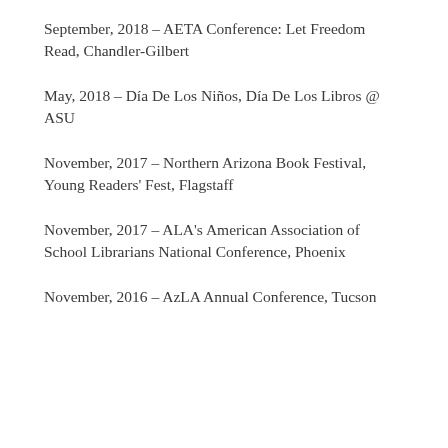September, 2018 – AETA Conference: Let Freedom Read, Chandler-Gilbert
May, 2018 – Día De Los Niños, Día De Los Libros @ ASU
November, 2017 – Northern Arizona Book Festival, Young Readers' Fest, Flagstaff
November, 2017 – ALA's American Association of School Librarians National Conference, Phoenix
November, 2016 – AzLA Annual Conference, Tucson